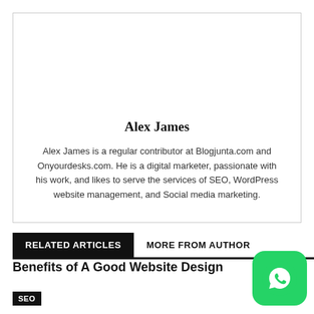Alex James
Alex James is a regular contributor at Blogjunta.com and Onyourdesks.com. He is a digital marketer, passionate with his work, and likes to serve the services of SEO, WordPress website management, and Social media marketing.
RELATED ARTICLES   MORE FROM AUTHOR
Benefits of A Good Website Design
SEO